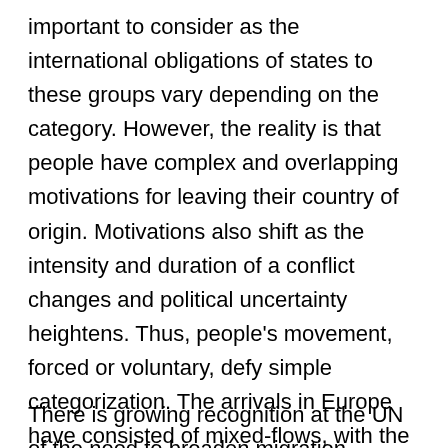important to consider as the international obligations of states to these groups vary depending on the category. However, the reality is that people have complex and overlapping motivations for leaving their country of origin. Motivations also shift as the intensity and duration of a conflict changes and political uncertainty heightens. Thus, people's movement, forced or voluntary, defy simple categorization. The arrivals in Europe have consisted of mixed-flows, with the majority of the first-time asylum applications being from Syrian citizens.
There is growing recognition at the UN of the need to broaden migration governance